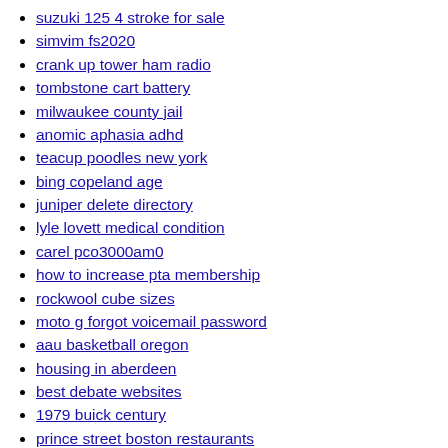suzuki 125 4 stroke for sale
simvim fs2020
crank up tower ham radio
tombstone cart battery
milwaukee county jail
anomic aphasia adhd
teacup poodles new york
bing copeland age
juniper delete directory
lyle lovett medical condition
carel pco3000am0
how to increase pta membership
rockwool cube sizes
moto g forgot voicemail password
aau basketball oregon
housing in aberdeen
best debate websites
1979 buick century
prince street boston restaurants
what channels are in 4k
cubfan135 plushie
conflict resolution in somalia
adaptive median filter python github
earthquake tiller mc43 fuel line
asa actuary